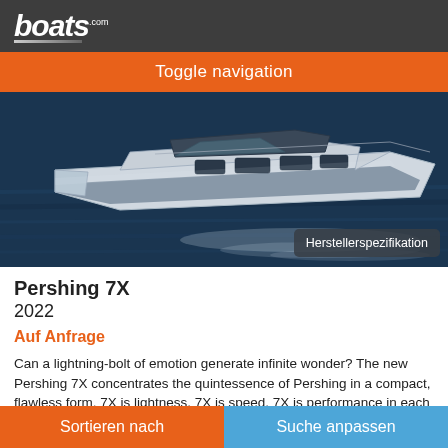boats.com
Toggle navigation
[Figure (photo): Aerial/side view of a Pershing 7X luxury motor yacht cruising on dark blue water, with label 'Herstellerspezifikation' overlaid at bottom right]
Pershing 7X
2022
Auf Anfrage
Can a lightning-bolt of emotion generate infinite wonder? The new Pershing 7X concentrates the quintessence of Pershing in a compact, flawless form. 7X is lightness. 7X is speed. 7X is performance in each
Sortieren nach    Suche anpassen